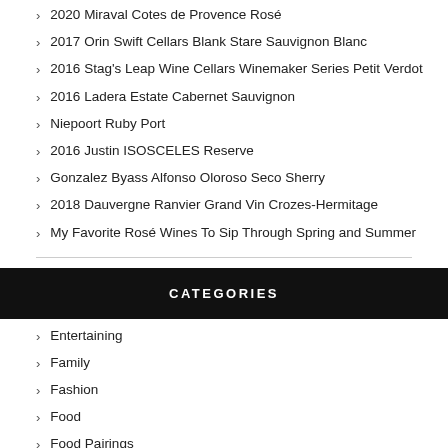2020 Miraval Cotes de Provence Rosé
2017 Orin Swift Cellars Blank Stare Sauvignon Blanc
2016 Stag's Leap Wine Cellars Winemaker Series Petit Verdot
2016 Ladera Estate Cabernet Sauvignon
Niepoort Ruby Port
2016 Justin ISOSCELES Reserve
Gonzalez Byass Alfonso Oloroso Seco Sherry
2018 Dauvergne Ranvier Grand Vin Crozes-Hermitage
My Favorite Rosé Wines To Sip Through Spring and Summer
CATEGORIES
Entertaining
Family
Fashion
Food
Food Pairings
Health & Fitness
Relationships